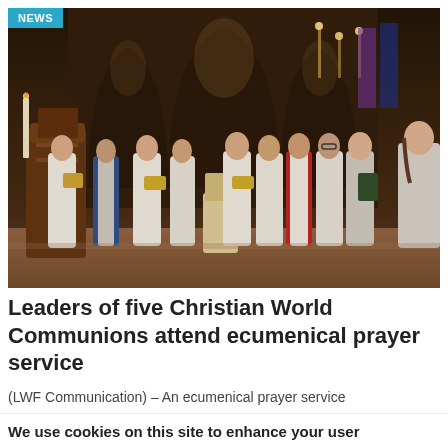[Figure (photo): Religious leaders in white vestments and robes standing in a row inside an ornate cathedral, holding books and singing or praying. A wooden pulpit is visible on the left. Gothic arches and candelabras are in the background. One leader wears a red cardinal robe. A NEWS badge is overlaid in the top-left corner.]
Leaders of five Christian World Communions attend ecumenical prayer service
(LWF Communication) – An ecumenical prayer service
We use cookies on this site to enhance your user